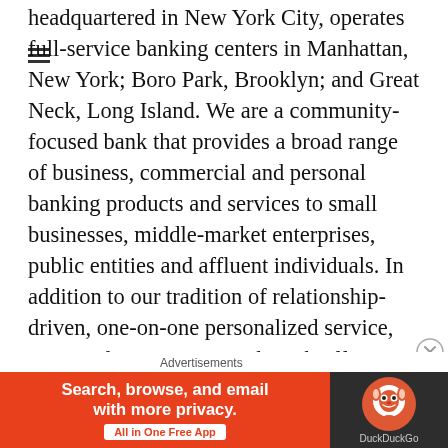headquartered in New York City, operates full-service banking centers in Manhattan, New York; Boro Park, Brooklyn; and Great Neck, Long Island. We are a community-focused bank that provides a broad range of business, commercial and personal banking products and services to small businesses, middle-market enterprises, public entities and affluent individuals. In addition to our tradition of relationship-driven, one-on-one personalized service, Metropolitan Commercial Bank offers multiple convenience delivery channels, including online banking, flexible mobile banking apps and no-fee access to over 1 million ATMs worldwide for our clients. The Bank is also an active issuer of debit cards for an increasing number of third-party debit card
Advertisements
[Figure (other): DuckDuckGo advertisement banner: orange left panel reading 'Search, browse, and email with more privacy. All in One Free App' with a white button, and a dark right panel showing the DuckDuckGo logo and name.]